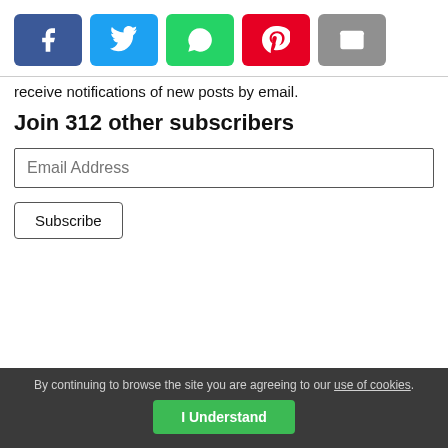[Figure (other): Social sharing buttons: Facebook (blue), Twitter (light blue), WhatsApp (green), Pinterest (red), Email (gray)]
receive notifications of new posts by email.
Join 312 other subscribers
Email Address
Subscribe
By continuing to browse the site you are agreeing to our use of cookies. I Understand